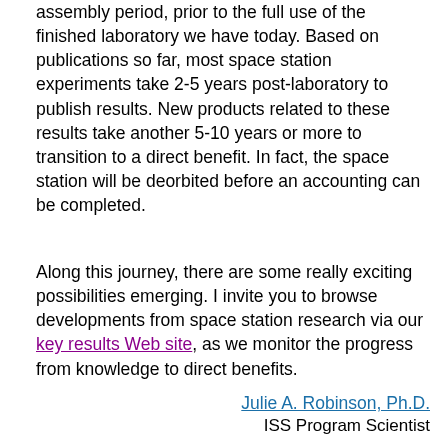assembly period, prior to the full use of the finished laboratory we have today. Based on publications so far, most space station experiments take 2-5 years post-laboratory to publish results. New products related to these results take another 5-10 years or more to transition to a direct benefit. In fact, the space station will be deorbited before an accounting can be completed.
Along this journey, there are some really exciting possibilities emerging. I invite you to browse developments from space station research via our key results Web site, as we monitor the progress from knowledge to direct benefits.
Julie A. Robinson, Ph.D.
ISS Program Scientist